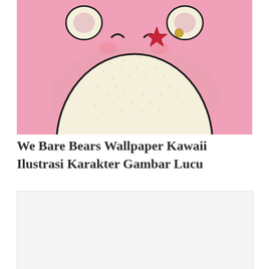[Figure (illustration): Kawaii illustration of a We Bare Bears character (white/cream bear with dotted texture) shown from the chest up against a pink background. The bear has closed crescent eyes, rosy cheeks, and a red star badge on its chest.]
We Bare Bears Wallpaper Kawaii Ilustrasi Karakter Gambar Lucu
[Figure (other): Light gray/white placeholder image rectangle]